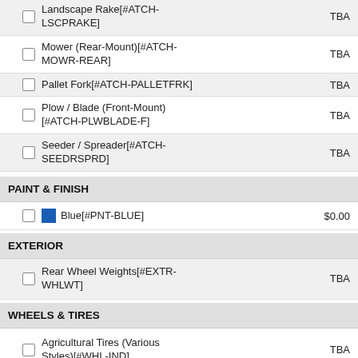Landscape Rake[#ATCH-LSCPRAKE]
Mower (Rear-Mount)[#ATCH-MOWR-REAR]
Pallet Fork[#ATCH-PALLETFRK]
Plow / Blade (Front-Mount)[#ATCH-PLWBLADE-F]
Seeder / Spreader[#ATCH-SEEDRSPRD]
PAINT & FINISH
Blue[#PNT-BLUE]
EXTERIOR
Rear Wheel Weights[#EXTR-WHLWT]
WHEELS & TIRES
Agricultural Tires (Various Styles)[#WHL-IND]